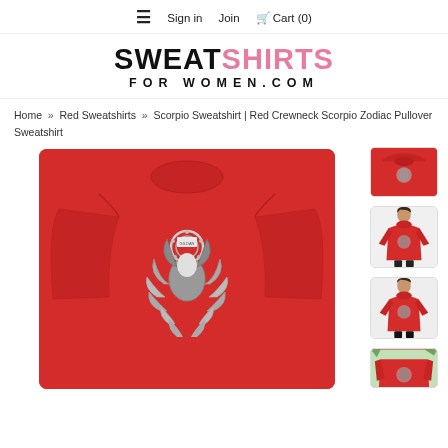≡  Sign in   Join   🛒 Cart (0)
[Figure (logo): SweatshirtsForWomen.com logo — SWEAT in black bold, SHIRTS in pink bold, FOR WOMEN.COM in black spaced letters below]
Home  »  Red Sweatshirts  »  Scorpio Sweatshirt | Red Crewneck Scorpio Zodiac Pullover Sweatshirt
[Figure (photo): Main product image: red crewneck sweatshirt with Scorpio zodiac illustrated graphic on chest, white/grey detailed design]
[Figure (photo): Thumbnail 1: top/back view of the red sweatshirt folded]
[Figure (photo): Thumbnail 2: woman wearing the red Scorpio sweatshirt, front view]
[Figure (photo): Thumbnail 3: woman wearing the red Scorpio sweatshirt, side/front view]
[Figure (photo): Thumbnail 4: partial view of the red sweatshirt with outdoor background]